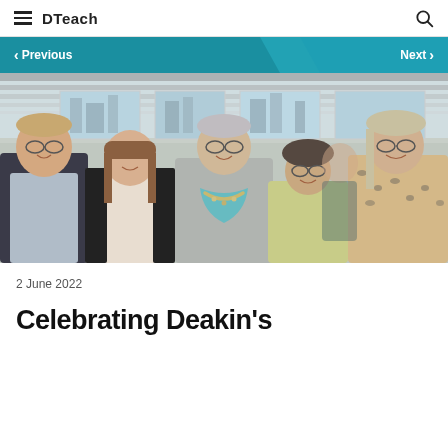DTeach
Previous
Next
[Figure (photo): Group photo of five people (two men, three women) standing and smiling together in a modern office or event space with large windows and a city view in the background. One woman is wearing a teal scarf with a beaded necklace, another is in a yellow-green sweater, and one is in a leopard print top.]
2 June 2022
Celebrating Deakin's